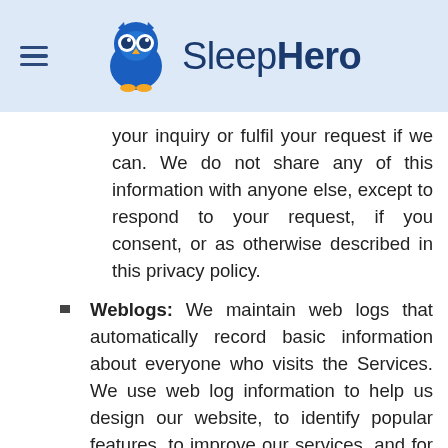SleepHero
your inquiry or fulfil your request if we can. We do not share any of this information with anyone else, except to respond to your request, if you consent, or as otherwise described in this privacy policy.
Weblogs: We maintain web logs that automatically record basic information about everyone who visits the Services. We use web log information to help us design our website, to identify popular features, to improve our services, and for other managerial and analytic purposes. We may also use weblogs to help identify any person who may be